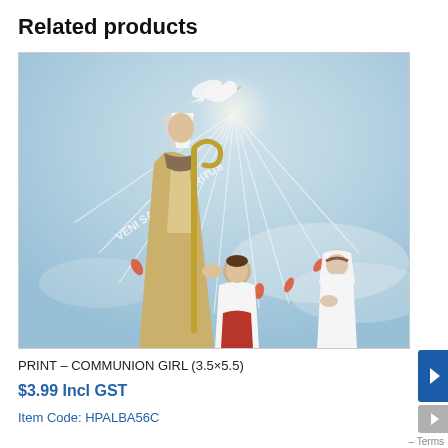Related products
[Figure (illustration): Religious illustration showing a bishop in white mitre and gold vestments performing a confirmation or blessing on a young girl in white veil, with an altar server beside her. A white dove emitting rays of light appears above, with the Latin text 'VENI SANCTE SPIRITUS' written in the rays. The scene has a soft blue sky background.]
PRINT – COMMUNION GIRL (3.5×5.5)
$3.99 Incl GST
Item Code: HPALBA56C